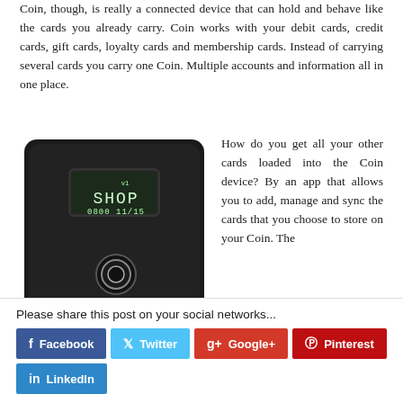Coin, though, is really a connected device that can hold and behave like the cards you already carry. Coin works with your debit cards, credit cards, gift cards, loyalty cards and membership cards. Instead of carrying several cards you carry one Coin. Multiple accounts and information all in one place.
[Figure (photo): A black Coin connected card device with a small digital display showing 'SHOP' and '0800 11/15' and a circular button below the display.]
How do you get all your other cards loaded into the Coin device? By an app that allows you to add, manage and sync the cards that you choose to store on your Coin. The
Please share this post on your social networks...
Facebook
Twitter
Google+
Pinterest
LinkedIn